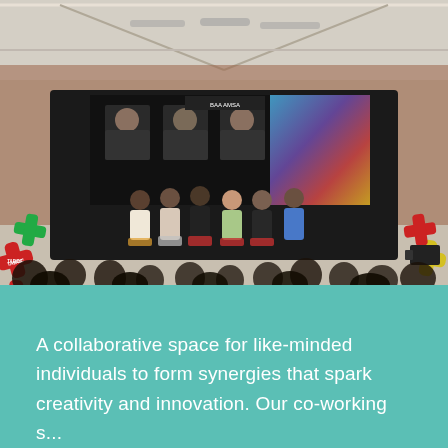[Figure (photo): Panel discussion on a stage at a TABOC event. Six panelists are seated on stage in front of a large dark LED screen showing portrait photos. Colorful TABOC X-shaped logos in red, green, and yellow are visible on both sides of the stage. The venue appears to be an industrial brick building with exposed ceiling trusses and ducts. A crowd faces the stage from the foreground.]
A collaborative space for like-minded individuals to form synergies that spark creativity and innovation. Our co-working space...